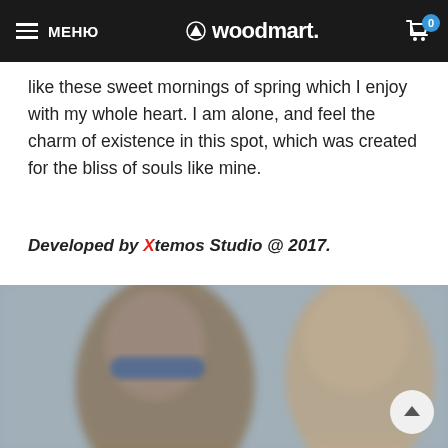МЕНЮ | woodmart. | Cart 0
like these sweet mornings of spring which I enjoy with my whole heart. I am alone, and feel the charm of existence in this spot, which was created for the bliss of souls like mine.
Developed by Xtemos Studio @ 2017.
[Figure (photo): Blurred photo of two people, one wearing blue sunglasses on the left, another person on the right, with a blurred background]